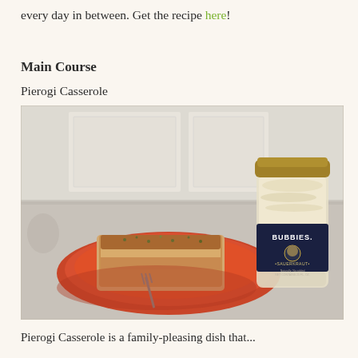every day in between. Get the recipe here!
Main Course
Pierogi Casserole
[Figure (photo): A plate of Pierogi Casserole on an orange plate with a fork, next to a jar of Bubbies Sauerkraut, on a kitchen counter with white cabinetry in the background.]
Pierogi Casserole is a family-pleasing dish that...